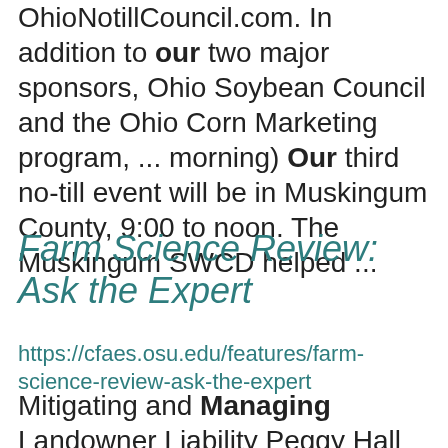OhioNotillCouncil.com. In addition to our two major sponsors, Ohio Soybean Council and the Ohio Corn Marketing program, ... morning) Our third no-till event will be in Muskingum County, 9:00 to noon. The Muskingum SWCD helped ...
Farm Science Review: Ask the Expert
https://cfaes.osu.edu/features/farm-science-review-ask-the-expert
Mitigating and Managing Landowner Liability Peggy Hall 1:20 p.m. Biosecurity: Managing Current Disease ... Challenges and Future Risks Samantha Locke 1:40